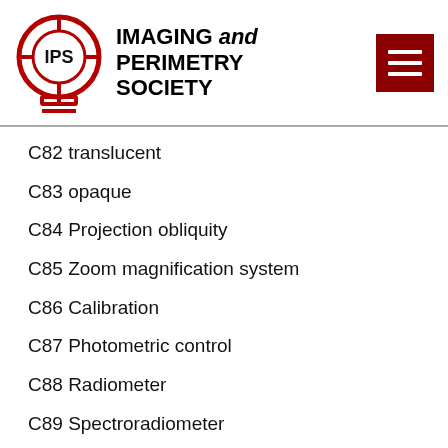[Figure (logo): Imaging and Perimetry Society logo with IPS text inside a circular crosshair/target symbol in red, beside the text IMAGING and PERIMETRY SOCIETY]
C82 translucent
C83 opaque
C84 Projection obliquity
C85 Zoom magnification system
C86 Calibration
C87 Photometric control
C88 Radiometer
C89 Spectroradiometer